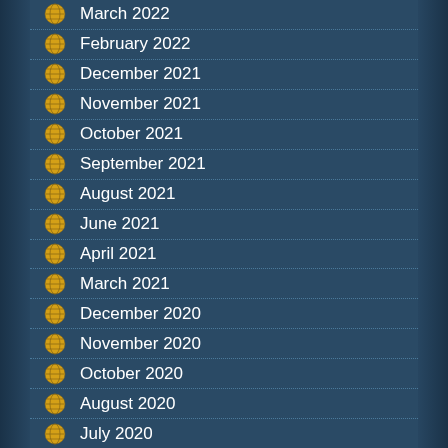March 2022
February 2022
December 2021
November 2021
October 2021
September 2021
August 2021
June 2021
April 2021
March 2021
December 2020
November 2020
October 2020
August 2020
July 2020